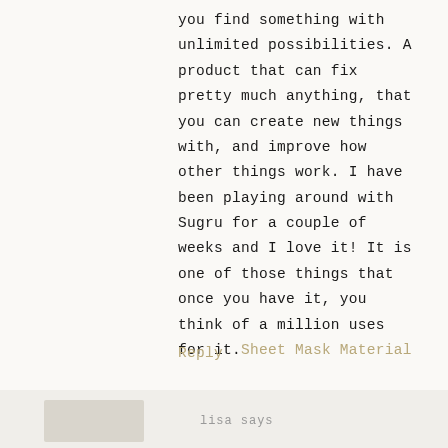you find something with unlimited possibilities. A product that can fix pretty much anything, that you can create new things with, and improve how other things work. I have been playing around with Sugru for a couple of weeks and I love it! It is one of those things that once you have it, you think of a million uses for it.Sheet Mask Material
Reply
lisa says